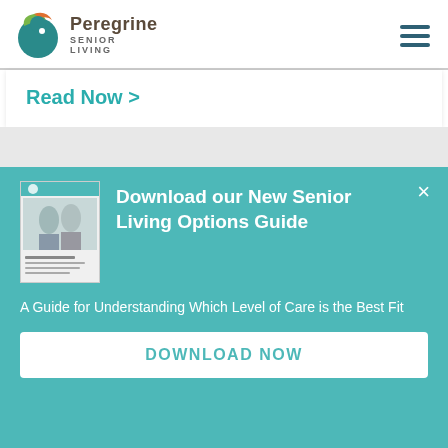Peregrine Senior Living
Read Now >
Download our New Senior Living Options Guide
A Guide for Understanding Which Level of Care is the Best Fit
DOWNLOAD NOW